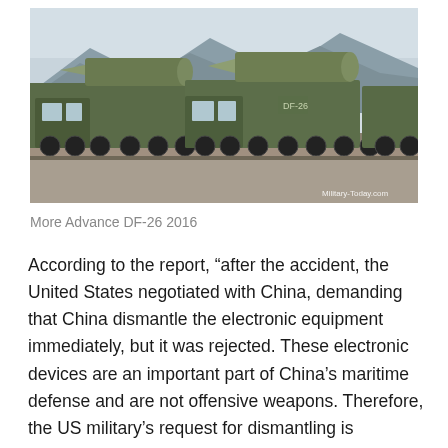[Figure (photo): Military vehicles carrying large ballistic missiles (DF-26) driving in a parade, with mountains in the background. Vehicles are green camouflage heavy trucks with multi-axle chassis. Watermark reads 'Military-Today.com'.]
More Advance DF-26 2016
According to the report, “after the accident, the United States negotiated with China, demanding that China dismantle the electronic equipment immediately, but it was rejected. These electronic devices are an important part of China’s maritime defense and are not offensive weapons. Therefore, the US military’s request for dismantling is unreasonable.”